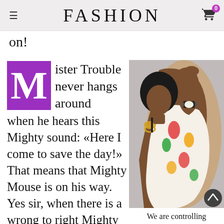FASHION
on!
Mister Trouble never hangs around when he hears this Mighty sound: «Here I come to save the day!» That means that Mighty Mouse is on his way. Yes sir, when there is a wrong to right Mighty Mouse will
[Figure (photo): A woman in a floral outfit wearing a watch and hoop earrings, head tilted down with arms raised]
We are controlling